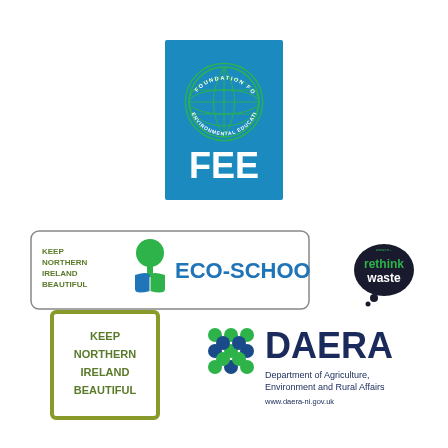[Figure (logo): FEE Foundation for Environmental Education logo — blue rectangle with green globe and white text FEE]
[Figure (logo): Keep Northern Ireland Beautiful Eco-Schools logo — rounded rectangle with tree and open book icon, green and blue colors, text ECO-SCHOOLS]
[Figure (logo): Rethink Waste logo — dark speech bubble with green and white text rethink waste]
[Figure (logo): Keep Northern Ireland Beautiful logo — olive/green square border with stacked text]
[Figure (logo): DAERA Department of Agriculture, Environment and Rural Affairs logo with green and blue dot-grid emblem]